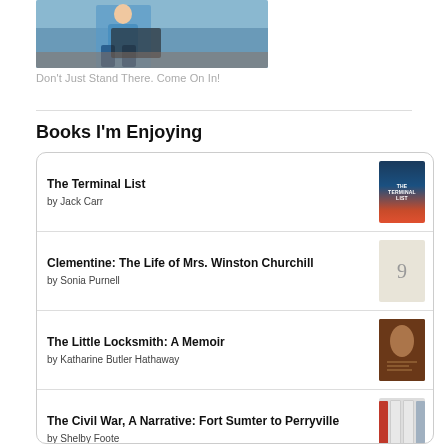[Figure (photo): Photo of a woman in a blue long-sleeve shirt carrying a black bag, standing in what appears to be a bookstore]
Don't Just Stand There. Come On In!
Books I'm Enjoying
The Terminal List by Jack Carr
Clementine: The Life of Mrs. Winston Churchill by Sonia Purnell
The Little Locksmith: A Memoir by Katharine Butler Hathaway
The Civil War, A Narrative: Fort Sumter to Perryville by Shelby Foote